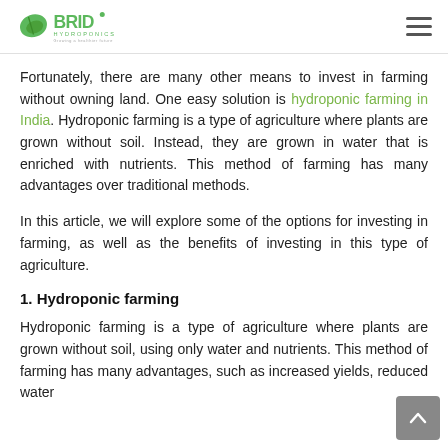BRID HYDROPONICS — Growing a healthier future
Fortunately, there are many other means to invest in farming without owning land. One easy solution is hydroponic farming in India. Hydroponic farming is a type of agriculture where plants are grown without soil. Instead, they are grown in water that is enriched with nutrients. This method of farming has many advantages over traditional methods.
In this article, we will explore some of the options for investing in farming, as well as the benefits of investing in this type of agriculture.
1. Hydroponic farming
Hydroponic farming is a type of agriculture where plants are grown without soil, using only water and nutrients. This method of farming has many advantages, such as increased yields, reduced water